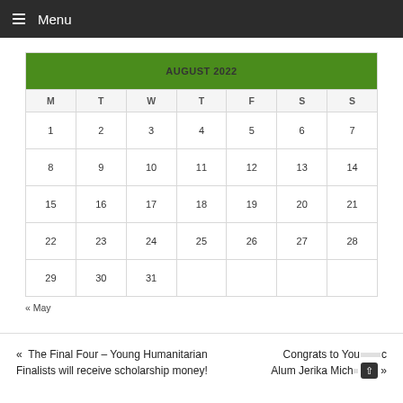≡ Menu
| AUGUST 2022 |  |  |  |  |  |  |
| --- | --- | --- | --- | --- | --- | --- |
| M | T | W | T | F | S | S |
| 1 | 2 | 3 | 4 | 5 | 6 | 7 |
| 8 | 9 | 10 | 11 | 12 | 13 | 14 |
| 15 | 16 | 17 | 18 | 19 | 20 | 21 |
| 22 | 23 | 24 | 25 | 26 | 27 | 28 |
| 29 | 30 | 31 |  |  |  |  |
« May
« The Final Four – Young Humanitarian Finalists will receive scholarship money!
Congrats to Young Alum Jerika Mich... »